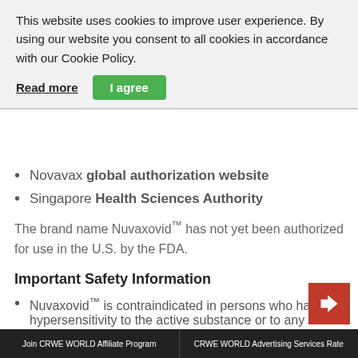This website uses cookies to improve user experience. By using our website you consent to all cookies in accordance with our Cookie Policy.
Read more | I agree
Novavax global authorization website
Singapore Health Sciences Authority
The brand name Nuvaxovid™ has not yet been authorized for use in the U.S. by the FDA.
Important Safety Information
Nuvaxovid™ is contraindicated in persons who have a hypersensitivity to the active substance or to any of the excipients
Events of anaphylaxis have been reported with administration of COVID-19 vaccines
Join CRWE WORLD Affiliate Program | CRWE WORLD Advertising Services Rate